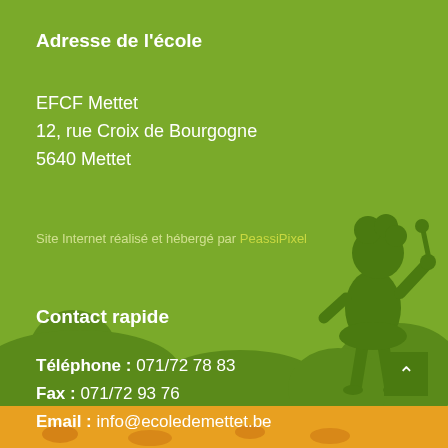Adresse de l'école
EFCF Mettet
12, rue Croix de Bourgogne
5640 Mettet
Site Internet réalisé et hébergé par PeassiPixel
Contact rapide
Téléphone : 071/72 78 83
Fax : 071/72 93 76
Email : info@ecoledemettet.be
[Figure (illustration): Green background with darker green silhouettes of a child figure and circular shapes, orange/yellow ground strip at the bottom with spots. Decorative school website footer illustration.]